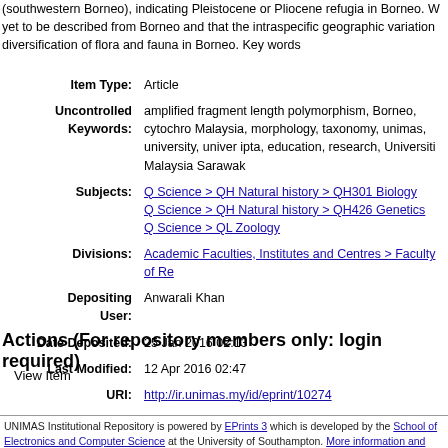(southwestern Borneo), indicating Pleistocene or Pliocene refugia in Borneo. W yet to be described from Borneo and that the intraspecific geographic variation diversification of flora and fauna in Borneo. Key words
| Field | Value |
| --- | --- |
| Item Type: | Article |
| Uncontrolled Keywords: | amplified fragment length polymorphism, Borneo, cytochro Malaysia, morphology, taxonomy, unimas, university, univer ipta, education, research, Universiti Malaysia Sarawak |
| Subjects: | Q Science > QH Natural history > QH301 Biology
Q Science > QH Natural history > QH426 Genetics
Q Science > QL Zoology |
| Divisions: | Academic Faculties, Institutes and Centres > Faculty of Re |
| Depositing User: | Anwarali Khan |
| Date Deposited: | 25 Jan 2016 02:13 |
| Last Modified: | 12 Apr 2016 02:47 |
| URI: | http://ir.unimas.my/id/eprint/10274 |
Actions (For repository members only: login required)
View Item
UNIMAS Institutional Repository is powered by EPrints 3 which is developed by the School of Electronics and Computer Science at the University of Southampton. More information and software credits.